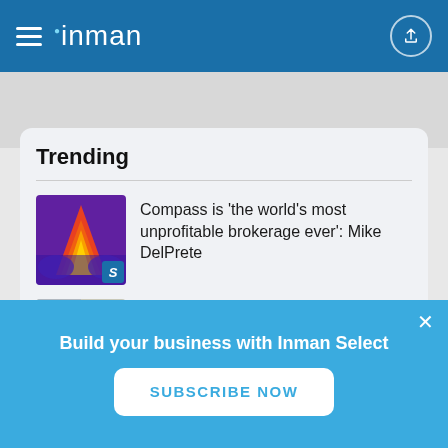inman
Trending
Compass is 'the world's most unprofitable brokerage ever': Mike DelPrete
New Keller Williams franchise scoops up 2 dozen Compass agents
What does 'housing recession' even mean?
Build your business with Inman Select
SUBSCRIBE NOW